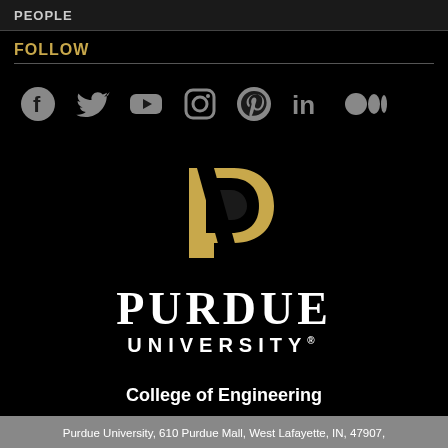PEOPLE
FOLLOW
[Figure (logo): Social media icons row: Facebook, Twitter, YouTube, Instagram, Pinterest, LinkedIn, Medium]
[Figure (logo): Purdue University College of Engineering logo with stylized P mark and wordmark]
College of Engineering
Purdue University, 610 Purdue Mall, West Lafayette, IN, 47907,